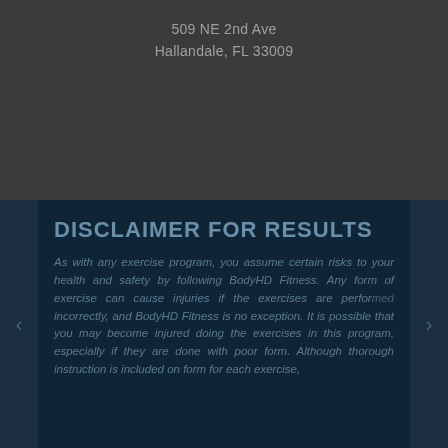509 NE 2nd Ave
Hallandale, FL 33009
DISCLAIMER FOR RESULTS
As with any exercise program, you assume certain risks to your health and safety by following BodyHD Fitness. Any form of exercise can cause injuries if the exercises are performed incorrectly, and BodyHD Fitness is no exception. It is possible that you may become injured doing the exercises in this program, especially if they are done with poor form. Although thorough instruction is included on form for each exercise,